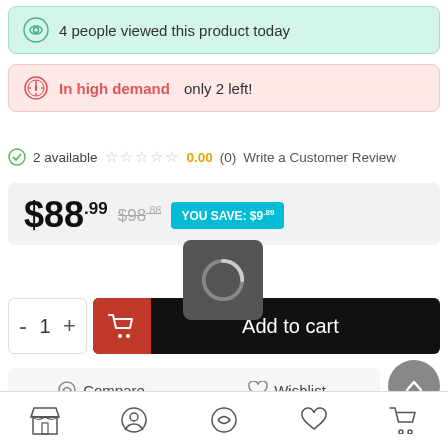4 people viewed this product today
In high demand only 2 left!
2 available  ☆☆☆☆☆  0.00 (0)  Write a Customer Review
$88.99  $98.88  YOU SAVE: $9.89
- 1 +  Add to cart
Compare  Wishlist
[Figure (screenshot): Bottom navigation bar with store, profile, compare, wishlist, and cart icons]